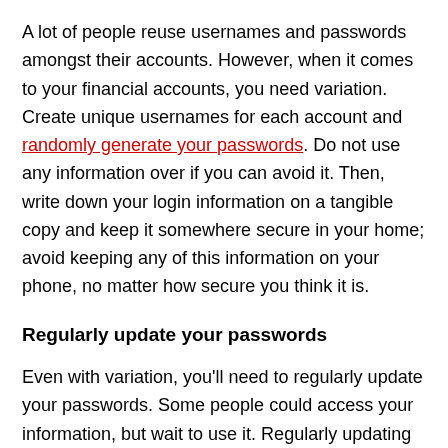A lot of people reuse usernames and passwords amongst their accounts. However, when it comes to your financial accounts, you need variation. Create unique usernames for each account and randomly generate your passwords. Do not use any information over if you can avoid it. Then, write down your login information on a tangible copy and keep it somewhere secure in your home; avoid keeping any of this information on your phone, no matter how secure you think it is.
Regularly update your passwords
Even with variation, you'll need to regularly update your passwords. Some people could access your information, but wait to use it. Regularly updating passwords helps make your accounts more secure and greatly reduces the possibility of your information being stolen.